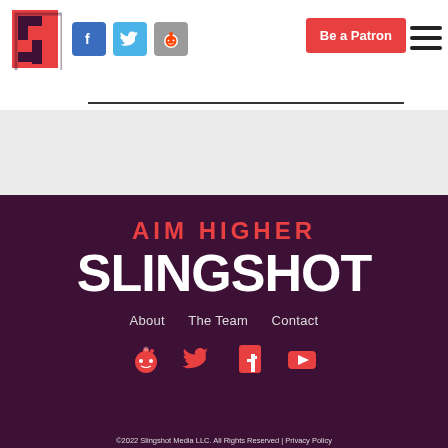[Figure (logo): Slingshot media red S logo in top left header]
[Figure (logo): Social media icon buttons: Facebook (blue), Twitter (blue), Reddit (gray) in header]
Be a Patron
[Figure (logo): Hamburger menu icon (three horizontal lines) top right]
AIM HIGHER
SLINGSHOT
About   The Team   Contact
[Figure (illustration): Social media icons row: Reddit, Twitter, Facebook, YouTube — white on dark purple background]
©2022 Slingshot Media LLC. All Rights Reserved | Privacy Policy